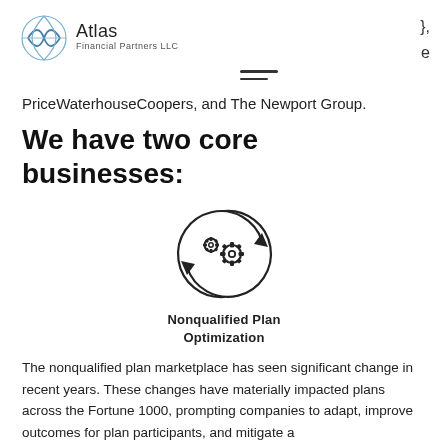Atlas Financial Partners LLC | }, e
PriceWaterhouseCoopers, and The Newport Group.
We have two core businesses:
[Figure (illustration): Circular arrow icon with two interlocking gears inside, representing process optimization or cyclical improvement.]
Nonqualified Plan Optimization
The nonqualified plan marketplace has seen significant change in recent years. These changes have materially impacted plans across the Fortune 1000, prompting companies to adapt, improve outcomes for plan participants, and mitigate a